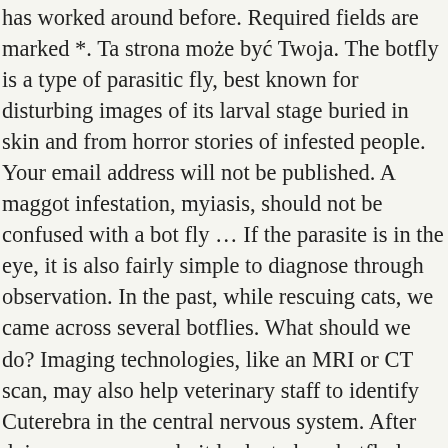has worked around before. Required fields are marked *. Ta strona może być Twoja. The botfly is a type of parasitic fly, best known for disturbing images of its larval stage buried in skin and from horror stories of infested people. Your email address will not be published. A maggot infestation, myiasis, should not be confused with a bot fly … If the parasite is in the eye, it is also fairly simple to diagnose through observation. In the past, while rescuing cats, we came across several botflies. What should we do? Imaging technologies, like an MRI or CT scan, may also help veterinary staff to identify Cuterebra in the central nervous system. After doing some research, it looks to be a botfly larva. The bot fly larvae found in the neck of the rabbit was a bit harder to work with. When found near the skin, the prognosis after treatment is good. I would clean this with soap and water and apply triple antibiotic ointment to the wound. Cats that spend a great deal of time outdoors are at a greater risk, and infestation occurs most frequently in the summer. Treatment and prevention of chlamydia in cats He's limping, and dislikes